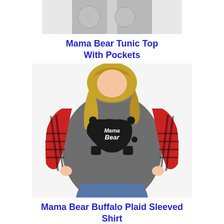[Figure (photo): Cropped bottom portion of a Mama Bear Tunic Top with Pockets product photo showing gray pants with a heart pocket design on gray background]
Mama Bear Tunic Top With Pockets
[Figure (photo): Woman wearing a gray Mama Bear long sleeve shirt with red and black buffalo plaid sleeves and a bear graphic on the front]
Mama Bear Buffalo Plaid Sleeved Shirt
[Figure (photo): Cropped top portion of a dark red/maroon Mama Bear shirt product photo]